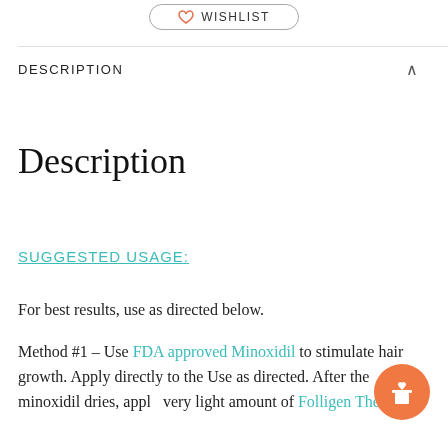[Figure (other): Wishlist button with heart icon at top center]
DESCRIPTION
Description
SUGGESTED USAGE:
For best results, use as directed below.
Method #1 – Use FDA approved Minoxidil to stimulate hair growth. Apply directly to the Use as directed. After the minoxidil dries, apply a very light amount of Folligen Therapy